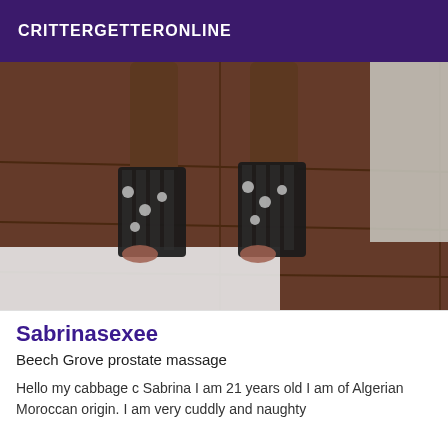CRITTERGETTERONLINE
[Figure (photo): Photograph showing the lower legs and feet of a person wearing black strappy high-heeled sandals, standing on a dark brown tiled floor with a white surface in the foreground.]
Sabrinasexee
Beech Grove prostate massage
Hello my cabbage c Sabrina I am 21 years old I am of Algerian Moroccan origin. I am very cuddly and naughty